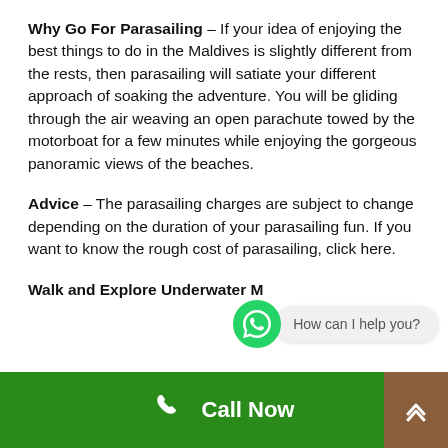Why Go For Parasailing – If your idea of enjoying the best things to do in the Maldives is slightly different from the rests, then parasailing will satiate your different approach of soaking the adventure. You will be gliding through the air weaving an open parachute towed by the motorboat for a few minutes while enjoying the gorgeous panoramic views of the beaches.
Advice – The parasailing charges are subject to change depending on the duration of your parasailing fun. If you want to know the rough cost of parasailing, click here.
Walk and Explore Underwater M
[Figure (other): WhatsApp chat bubble with text 'How can I help you?']
Call Now | Up arrow button